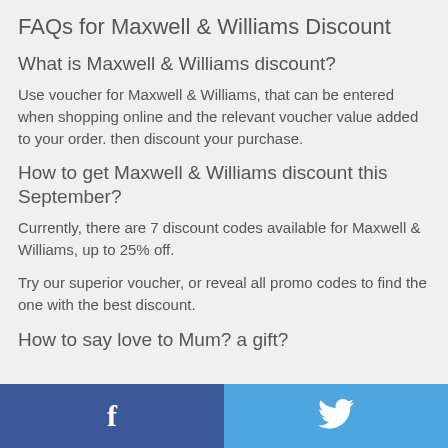FAQs for Maxwell & Williams Discount
What is Maxwell & Williams discount?
Use voucher for Maxwell & Williams, that can be entered when shopping online and the relevant voucher value added to your order. then discount your purchase.
How to get Maxwell & Williams discount this September?
Currently, there are 7 discount codes available for Maxwell & Williams, up to 25% off.
Try our superior voucher, or reveal all promo codes to find the one with the best discount.
How to say love to Mum? a gift?
Facebook | Twitter social share buttons